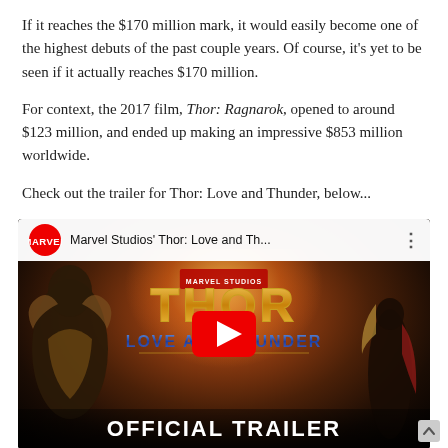If it reaches the $170 million mark, it would easily become one of the highest debuts of the past couple years. Of course, it's yet to be seen if it actually reaches $170 million.
For context, the 2017 film, Thor: Ragnarok, opened to around $123 million, and ended up making an impressive $853 million worldwide.
Check out the trailer for Thor: Love and Thunder, below...
[Figure (screenshot): YouTube embedded video thumbnail for 'Marvel Studios' Thor: Love and Thunder' official trailer, showing the MARVEL logo, video title, Thor Love and Thunder logo text, a YouTube play button overlay, two figures on either side, and 'OFFICIAL TRAILER' text at the bottom.]